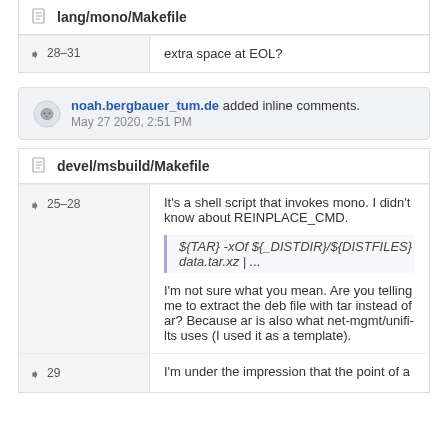lang/mono/Makefile
28–31 | extra space at EOL?
noah.bergbauer_tum.de added inline comments. May 27 2020, 2:51 PM
devel/msbuild/Makefile
25–28 | It's a shell script that invokes mono. I didn't know about REINPLACE_CMD.
${TAR} -xOf ${_DISTDIR}/${DISTFILES} data.tar.xz | ...
I'm not sure what you mean. Are you telling me to extract the deb file with tar instead of ar? Because ar is also what net-mgmt/unifi-lts uses (I used it as a template).
29 | I'm under the impression that the point of a